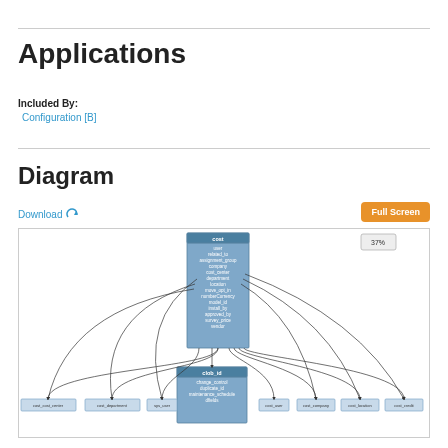Applications
Included By:
Configuration [B]
Diagram
Download
[Figure (network-graph): Entity-relationship / database schema diagram showing a central 'cost' table with many fields (user, related_to, assignment_group, company, cost_center, department, location, move_opt_in, numberCurrency, model_id, install_by, approved_by, survey_price, vendor) connected by arrows to surrounding tables: cost_cost_center, cost_department, sys_user, clob_id (with fields change_control, duplicate_id, maintenance_schedule, dfields), cost_user, cost_company, cost_location, cost_credit. Zoom level shown as 37%.]